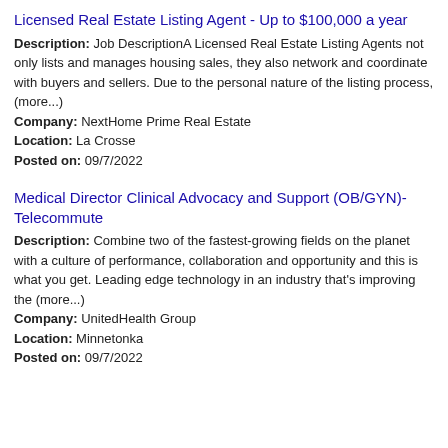Licensed Real Estate Listing Agent - Up to $100,000 a year
Description: Job DescriptionA Licensed Real Estate Listing Agents not only lists and manages housing sales, they also network and coordinate with buyers and sellers. Due to the personal nature of the listing process, (more...)
Company: NextHome Prime Real Estate
Location: La Crosse
Posted on: 09/7/2022
Medical Director Clinical Advocacy and Support (OB/GYN)- Telecommute
Description: Combine two of the fastest-growing fields on the planet with a culture of performance, collaboration and opportunity and this is what you get. Leading edge technology in an industry that's improving the (more...)
Company: UnitedHealth Group
Location: Minnetonka
Posted on: 09/7/2022